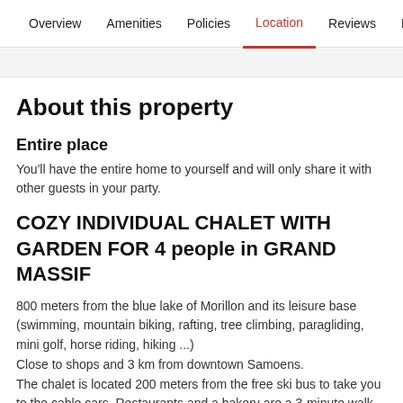Overview | Amenities | Policies | Location | Reviews | Host
About this property
Entire place
You'll have the entire home to yourself and will only share it with other guests in your party.
COZY INDIVIDUAL CHALET WITH GARDEN FOR 4 people in GRAND MASSIF
800 meters from the blue lake of Morillon and its leisure base (swimming, mountain biking, rafting, tree climbing, paragliding, mini golf, horse riding, hiking ...)
Close to shops and 3 km from downtown Samoens.
The chalet is located 200 meters from the free ski bus to take you to the cable cars. Restaurants and a bakery are a 3-minute walk away.
The cottage :